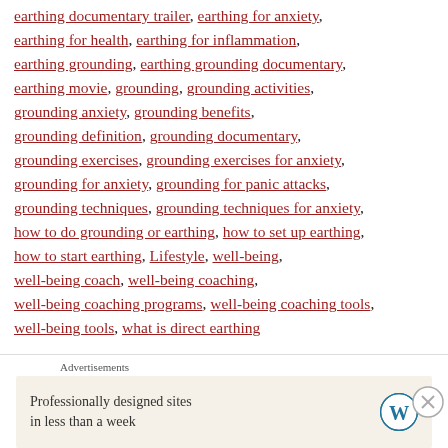earthing documentary trailer, earthing for anxiety, earthing for health, earthing for inflammation, earthing grounding, earthing grounding documentary, earthing movie, grounding, grounding activities, grounding anxiety, grounding benefits, grounding definition, grounding documentary, grounding exercises, grounding exercises for anxiety, grounding for anxiety, grounding for panic attacks, grounding techniques, grounding techniques for anxiety, how to do grounding or earthing, how to set up earthing, how to start earthing, Lifestyle, well-being, well-being coach, well-being coaching, well-being coaching programs, well-being coaching tools, well-being tools, what is direct earthing
13 Comments
Advertisements
Professionally designed sites in less than a week